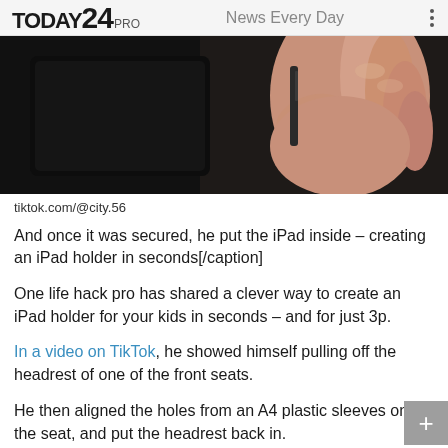TODAY24 PRO   News Every Day
[Figure (photo): Close-up photo of a hand holding or pressing a dark object, possibly a tablet or device, with a dark background and skin tones.]
tiktok.com/@city.56
And once it was secured, he put the iPad inside – creating an iPad holder in seconds[/caption]
One life hack pro has shared a clever way to create an iPad holder for your kids in seconds – and for just 3p.
In a video on TikTok, he showed himself pulling off the headrest of one of the front seats.
He then aligned the holes from an A4 plastic sleeves onto the seat, and put the headrest back in.